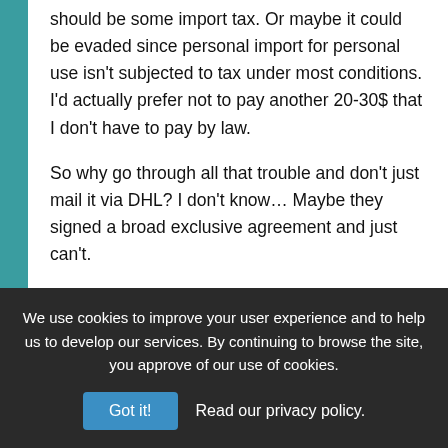should be some import tax. Or maybe it could be evaded since personal import for personal use isn't subjected to tax under most conditions. I'd actually prefer not to pay another 20-30$ that I don't have to pay by law.

So why go through all that trouble and don't just mail it via DHL? I don't know... Maybe they signed a broad exclusive agreement and just can't.

I'll be very glad to hear comments on this from Jolla officials.
Log in to Reply
We use cookies to improve your user experience and to help us to develop our services. By continuing to browse the site, you approve of our use of cookies.
Got it!  Read our privacy policy.